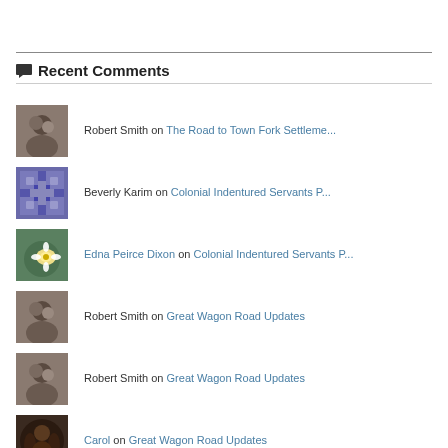Recent Comments
Robert Smith on The Road to Town Fork Settleme...
Beverly Karim on Colonial Indentured Servants P...
Edna Peirce Dixon on Colonial Indentured Servants P...
Robert Smith on Great Wagon Road Updates
Robert Smith on Great Wagon Road Updates
Carol on Great Wagon Road Updates
Robert Smith on Great Wagon Road Updates